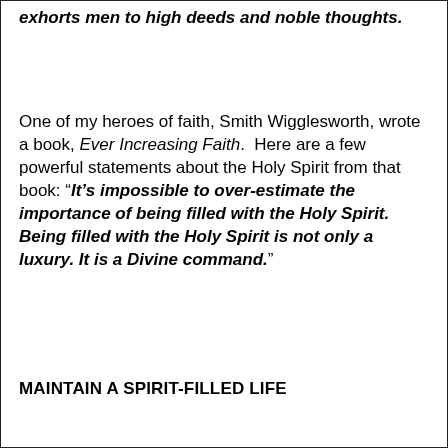exhorts men to high deeds and noble thoughts.
One of my heroes of faith, Smith Wigglesworth, wrote a book, Ever Increasing Faith.  Here are a few powerful statements about the Holy Spirit from that book: “It’s impossible to over-estimate the importance of being filled with the Holy Spirit. Being filled with the Holy Spirit is not only a luxury. It is a Divine command.”
MAINTAIN A SPIRIT-FILLED LIFE